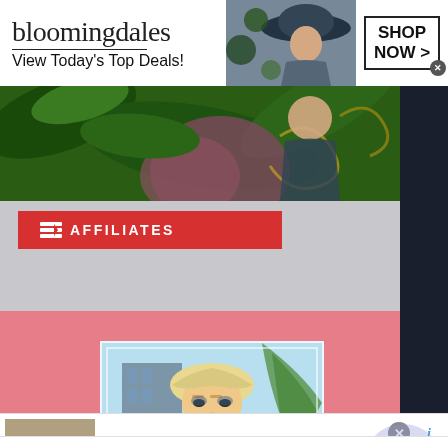[Figure (screenshot): Bloomingdales top banner ad: logo on left, woman in hat in center, 'SHOP NOW >' button on right. Tagline: 'View Today's Top Deals!']
[Figure (photo): Website content area: jungle/floral background image on top portion with dark right sidebar, red AFFILIATES button, pink section with featured video frame of blonde woman, thumbnails row at bottom]
[Figure (screenshot): Frontgate SALES bottom advertisement: image of outdoor furniture on left, title 'Frontgate SALES', subtitle 'up to 50% off', URL 'frontgate.com', blue circular arrow button on right]